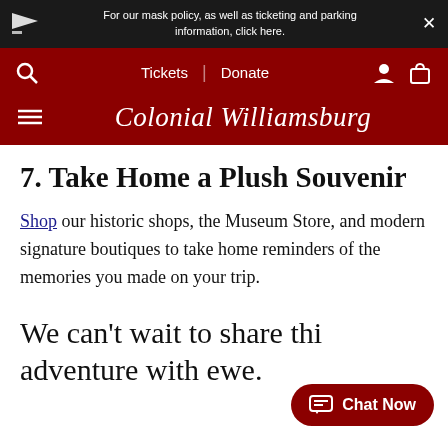For our mask policy, as well as ticketing and parking information, click here.
Tickets | Donate
Colonial Williamsburg
7. Take Home a Plush Souvenir
Shop our historic shops, the Museum Store, and modern signature boutiques to take home reminders of the memories you made on your trip.
We can't wait to share thi… adventure with ewe.